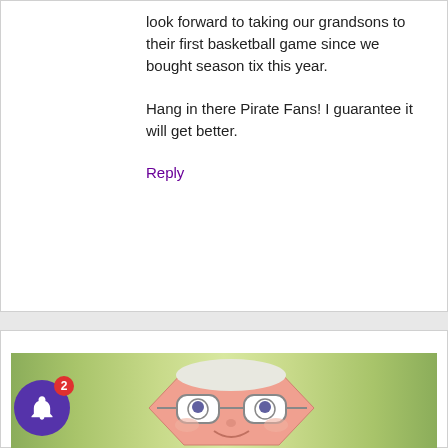look forward to taking our grandsons to their first basketball game since we bought season tix this year.

Hang in there Pirate Fans! I guarantee it will get better.
Reply
[Figure (illustration): Cartoon avatar face with glasses on a green gradient background]
Dan A. says
November 26, 2018 at 10:29 am